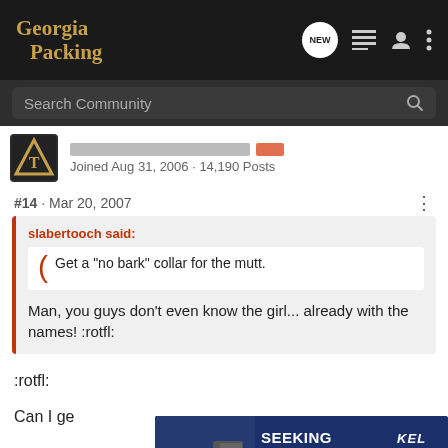Georgia Packing
Search Community
Joined Aug 31, 2006 · 14,190 Posts
#14 · Mar 20, 2007
slabertooch said:
Get a "no bark" collar for the mutt.
Man, you guys don't even know the girl... already with the names! :rotfl:
:rotfl:
Can I ge
[Figure (photo): Advertisement banner for Kel-Tec CP33 pistol: 'Seeking Long Range Relationship' with Buy Now button]